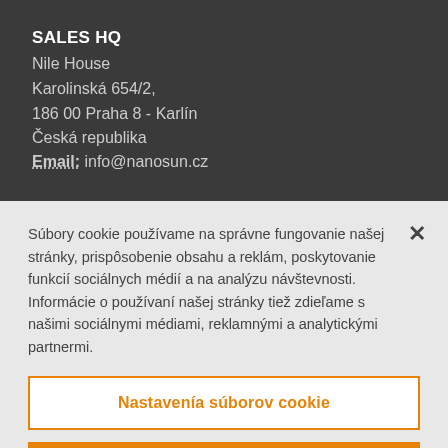SALES HQ
Nile House
Karolinská 654/2,
186 00 Praha 8 - Karlín
Česká republika
Email: info@nanosun.cz
Súbory cookie používame na správne fungovanie našej stránky, prispôsobenie obsahu a reklám, poskytovanie funkcií sociálnych médií a na analýzu návštevnosti. Informácie o používaní našej stránky tiež zdieľame s našimi sociálnymi médiami, reklamnými a analytickými partnermi.
Nastavenía súborov cookie
Prijať všetky súbory cookie